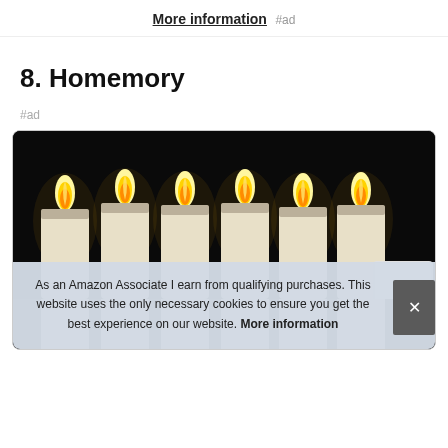More information #ad
8. Homemory
#ad
[Figure (photo): Product image showing seven glowing flameless LED candles with bright yellow flames against a black background, arranged in a row.]
As an Amazon Associate I earn from qualifying purchases. This website uses the only necessary cookies to ensure you get the best experience on our website. More information